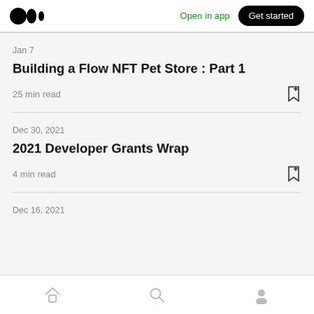Medium logo | Open in app | Get started
Jan 7
Building a Flow NFT Pet Store : Part 1
25 min read
Dec 30, 2021
2021 Developer Grants Wrap
4 min read
Dec 16, 2021
Home | Search | Profile